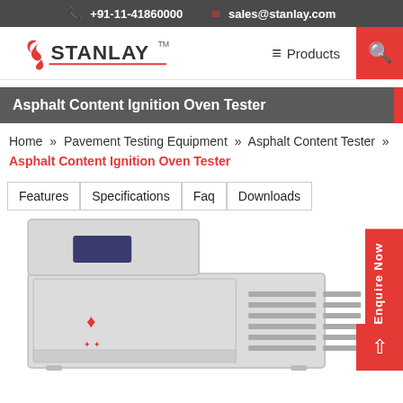+91-11-41860000   sales@stanlay.com
[Figure (logo): Stanlay logo with red figure and text STANLAY TM]
≡ Products
Asphalt Content Ignition Oven Tester
Home » Pavement Testing Equipment » Asphalt Content Tester » Asphalt Content Ignition Oven Tester
Features
Specifications
Faq
Downloads
[Figure (photo): Photo of Asphalt Content Ignition Oven Tester machine — a large grey rectangular cabinet with ventilation slots on the right side and a smaller unit stacked on top left]